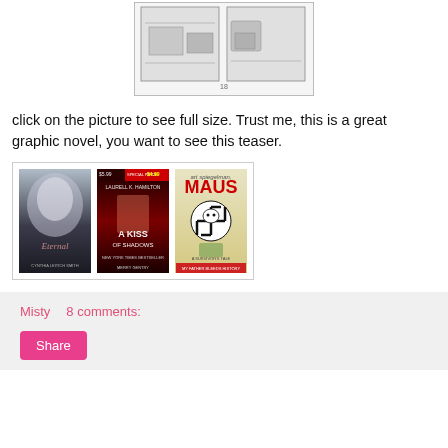[Figure (illustration): Scanned comic/graphic novel pages showing black and white panels]
click on the picture to see full size. Trust me, this is a great graphic novel, you want to see this teaser.
[Figure (illustration): Three book covers side by side: Eternal by Cynthia Leitich Smith, A Kiss of Shadows by Laurell K. Hamilton (special price $4.99), and Maus by Art Spiegelman (A Survivor's Tale: My Father Bleeds History)]
Misty    8 comments:
Share